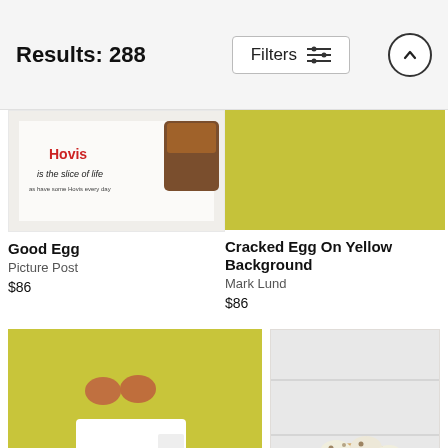Results: 288
Filters
[Figure (photo): Partial view of a vintage Hovis bread advertisement image - 'Hovis is the slice of life']
Good Egg
Picture Post
$86
[Figure (photo): Yellow-green background with cracked egg]
Cracked Egg On Yellow Background
Mark Lund
$86
[Figure (photo): Two brown eggs, recipe card, chives and a croissant arranged on a yellow-green background - ingredients for scrambled eggs]
[Figure (photo): Quail eggs in a straw nest on white wooden surface - baby eggs]
Ingredients For Scrambled Eggs...
Baby Eggs...